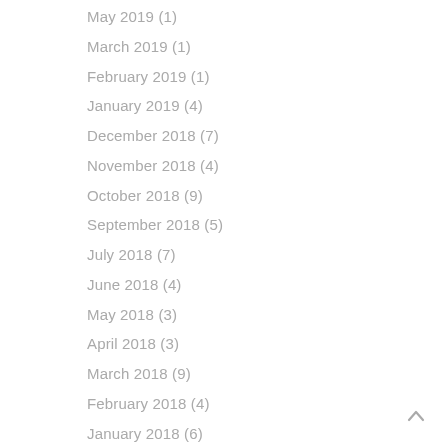May 2019 (1)
March 2019 (1)
February 2019 (1)
January 2019 (4)
December 2018 (7)
November 2018 (4)
October 2018 (9)
September 2018 (5)
July 2018 (7)
June 2018 (4)
May 2018 (3)
April 2018 (3)
March 2018 (9)
February 2018 (4)
January 2018 (6)
December 2017 (4)
November 2017 (1)
October 2017 (1)
September 2017 (3)